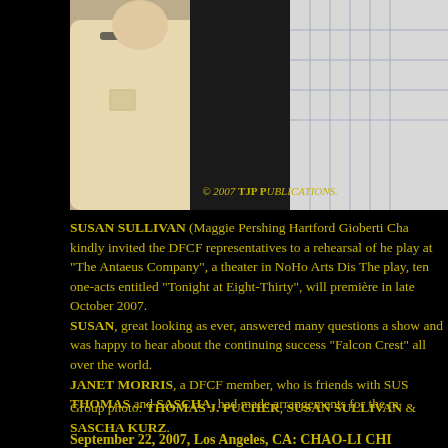[Figure (photo): Group photo of three people; two men and a woman, taken at The Antaeus Company theater. Copyright watermark: © 2007 TJP Publications.]
SUSAN SULLIVAN (Maggie Pershing Hartford Gioberti Cha kindly invited the DFCF representatives to a rehearsal of he play at "The Antaeus Company", a theater in NoHo Arts Dis The play, ten one-acts entitled "Tonight at Eight-Thirty", will première in late October 2007.
SUSAN, great looking as ever, answered many questions a show and was happy to hear about the continuing success "Falcon Crest" all over the world.
JANET MORRIS, a DFCF member, who is friends with SUS THOMAS and SASCHA, had made arrangements for the m
Group photo: THOMAS J. PUCHER, SUSAN SULLIVAN & SASCHA KURZ.
September 22, 2007, Los Angeles, CA: CHAO-LI CHI